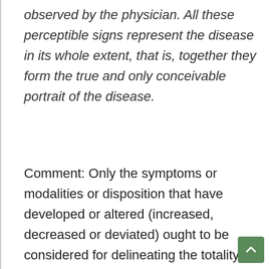observed by the physician. All these perceptible signs represent the disease in its whole extent, that is, together they form the true and only conceivable portrait of the disease.
Comment: Only the symptoms or modalities or disposition that have developed or altered (increased, decreased or deviated) ought to be considered for delineating the totality of